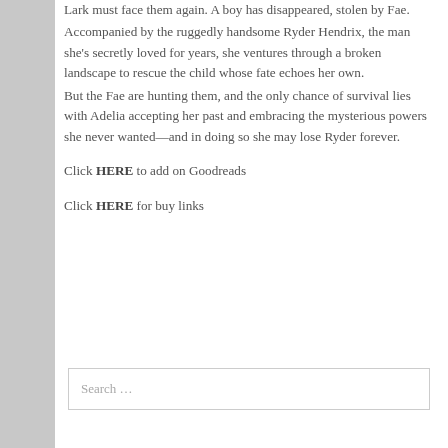Lark must face them again. A boy has disappeared, stolen by Fae. Accompanied by the ruggedly handsome Ryder Hendrix, the man she's secretly loved for years, she ventures through a broken landscape to rescue the child whose fate echoes her own. But the Fae are hunting them, and the only chance of survival lies with Adelia accepting her past and embracing the mysterious powers she never wanted—and in doing so she may lose Ryder forever.
Click HERE to add on Goodreads
Click HERE for buy links
Search …